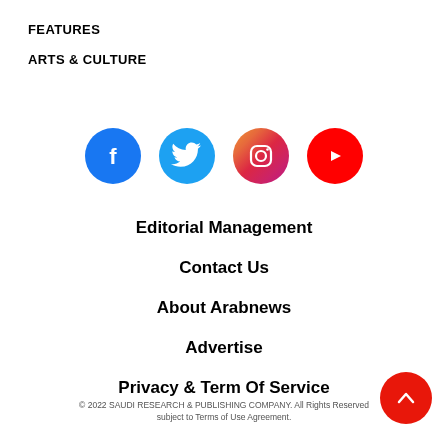FEATURES
ARTS & CULTURE
[Figure (infographic): Row of four social media icons: Facebook (blue circle with f logo), Twitter (light blue circle with bird logo), Instagram (gradient circle with camera logo), YouTube (red circle with play button logo)]
Editorial Management
Contact Us
About Arabnews
Advertise
Privacy & Term Of Service
© 2022 SAUDI RESEARCH & PUBLISHING COMPANY. All Rights Reserved subject to Terms of Use Agreement.